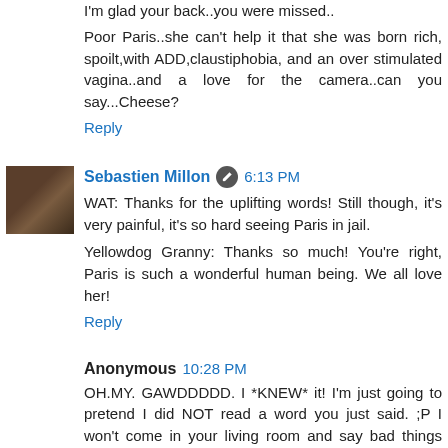I'm glad your back..you were missed..
Poor Paris..she can't help it that she was born rich, spoilt,with ADD,claustiphobia, and an over stimulated vagina..and a love for the camera..can you say...Cheese?
Reply
Sebastien Millon  6:13 PM
WAT: Thanks for the uplifting words! Still though, it's very painful, it's so hard seeing Paris in jail.

Yellowdog Granny: Thanks so much! You're right, Paris is such a wonderful human being. We all love her!
Reply
Anonymous  10:28 PM
OH.MY. GAWDDDDD. I *KNEW* it! I'm just going to pretend I did NOT read a word you just said. ;P I won't come in your living room and say bad things about Paris. I'm just going to slowly back away. :D